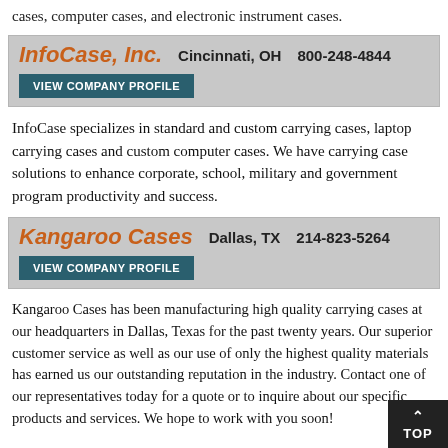cases, computer cases, and electronic instrument cases.
InfoCase, Inc.   Cincinnati, OH   800-248-4844
VIEW COMPANY PROFILE
InfoCase specializes in standard and custom carrying cases, laptop carrying cases and custom computer cases. We have carrying case solutions to enhance corporate, school, military and government program productivity and success.
Kangaroo Cases   Dallas, TX   214-823-5264
VIEW COMPANY PROFILE
Kangaroo Cases has been manufacturing high quality carrying cases at our headquarters in Dallas, Texas for the past twenty years. Our superior customer service as well as our use of only the highest quality materials has earned us our outstanding reputation in the industry. Contact one of our representatives today for a quote or to inquire about our specific products and services. We hope to work with you soon!